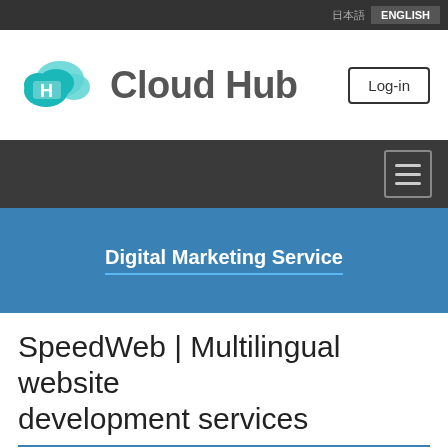日本語  ENGLISH
[Figure (logo): Cloud Hub logo with teal cloud icon and 'Cloud Hub' text, plus Log-in button]
[Figure (screenshot): Dark navigation bar with hamburger menu icon on the right]
Digital Marketing Service
SpeedWeb | Multilingual website development services
Web production company from Japan with an office in Malaysia.
We provide high quality websites in multiple languages. Japanese, English, Malay and Chi...